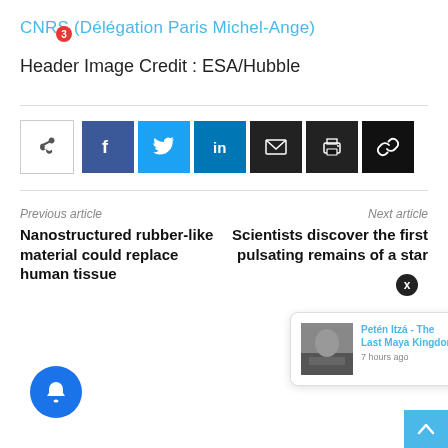CNRS (Délégation Paris Michel-Ange)
Header Image Credit : ESA/Hubble
[Figure (screenshot): Social share buttons row: share icon, Facebook, Twitter, LinkedIn, Email, Print, Link]
Previous article
Next article
Nanostructured rubber-like material could replace human tissue
Scientists discover the first pulsating remains of a star
[Figure (screenshot): Notification popup showing article 'Petén Itzá - The Last Maya Kingdom' with thumbnail image and '7 hours ago' timestamp]
[Figure (screenshot): Blue bell notification button with red badge showing '3', and teal scroll-to-top button]